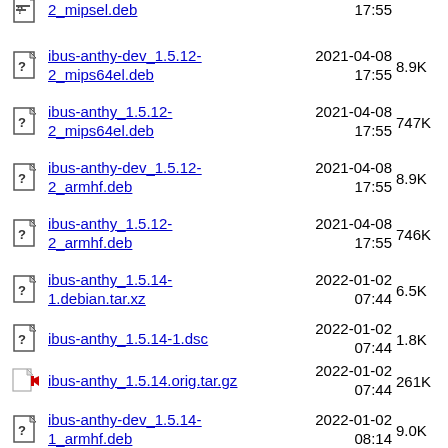ibus-anthy-dev_1.5.12-2_mips64el.deb  2021-04-08 17:55  8.9K
ibus-anthy_1.5.12-2_mips64el.deb  2021-04-08 17:55  747K
ibus-anthy-dev_1.5.12-2_armhf.deb  2021-04-08 17:55  8.9K
ibus-anthy_1.5.12-2_armhf.deb  2021-04-08 17:55  746K
ibus-anthy_1.5.14-1.debian.tar.xz  2022-01-02 07:44  6.5K
ibus-anthy_1.5.14-1.dsc  2022-01-02 07:44  1.8K
ibus-anthy_1.5.14.orig.tar.gz  2022-01-02 07:44  261K
ibus-anthy-dev_1.5.14-1_armhf.deb  2022-01-02 08:14  9.0K
ibus-anthy_1.5.14-1_armhf.deb  2022-01-02 08:14  751K
ibus-anthy-dev_1.5.14-1_armel.deb  2022-01-02 08:14  9.0K
ibus-anthy_1.5.14-1_armel.deb  2022-01-02 08:14  752K